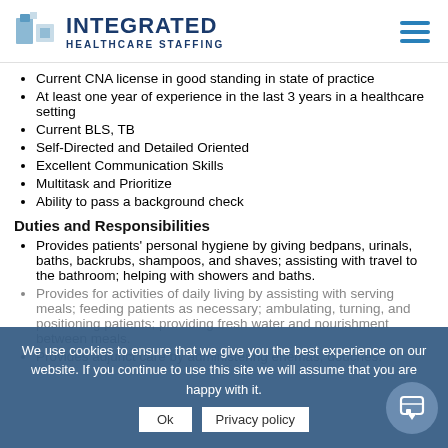INTEGRATED HEALTHCARE STAFFING
Current CNA license in good standing in state of practice
At least one year of experience in the last 3 years in a healthcare setting
Current BLS, TB
Self-Directed and Detailed Oriented
Excellent Communication Skills
Multitask and Prioritize
Ability to pass a background check
Duties and Responsibilities
Provides patients' personal hygiene by giving bedpans, urinals, baths, backrubs, shampoos, and shaves; assisting with travel to the bathroom; helping with showers and baths.
Provides for activities of daily living by assisting with serving meals; feeding patients as necessary; ambulating, turning, and positioning patients; providing fresh water and nourishment between meals.
Provides adjunct care by administering enemas, douches.
We use cookies to ensure that we give you the best experience on our website. If you continue to use this site we will assume that you are happy with it.